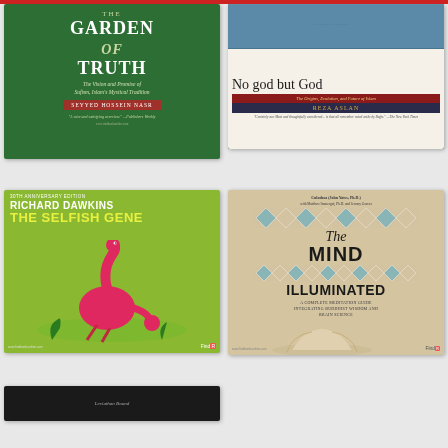[Figure (illustration): Book cover: The Garden of Truth by Seyyed Hossein Nasr. Green background with gold/white text. Subtitle: The Vision and Promise of Sufism, Islam's Mystical Tradition.]
[Figure (illustration): Book cover: No god but God by Reza Aslan. Dark background with aerial flock of birds at top. Subtitle: The Origins, Evolution, and Future of Islam.]
[Figure (illustration): Book cover: The Selfish Gene by Richard Dawkins. 30th Anniversary Edition. Green background with surreal red bird-like creature. Yellow title text.]
[Figure (illustration): Book cover: The Mind Illuminated by Culadasa (John Yates, Ph.D.) with Matthew Immergut Ph.D. and Jeremy Graves. Beige/cream background with diamond pattern. Subtitle: A Complete Meditation Guide Integrating Buddhist Wisdom and Brain Science.]
[Figure (illustration): Partial book cover at bottom left, dark background, partially visible.]